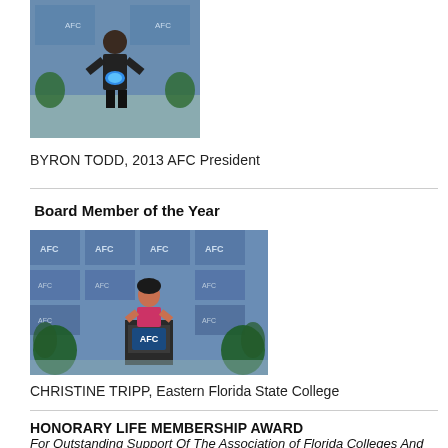[Figure (photo): A man standing indoors holding a blue award trophy, AFC banner in background]
BYRON TODD, 2013 AFC President
Board Member of the Year
[Figure (photo): A woman standing at an AFC podium in front of an AFC banner backdrop]
CHRISTINE TRIPP, Eastern Florida State College
HONORARY LIFE MEMBERSHIP AWARD
For Outstanding Support Of The Association of Florida Colleges And The Florida College System